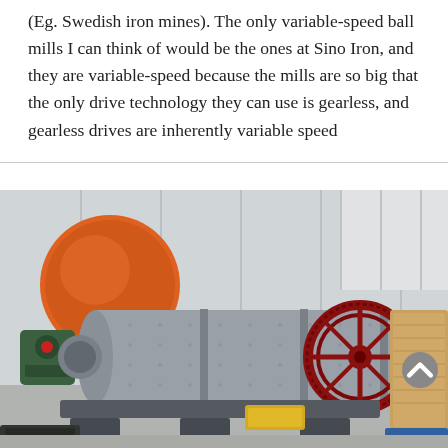(Eg. Swedish iron mines). The only variable-speed ball mills I can think of would be the ones at Sino Iron, and they are variable-speed because the mills are so big that the only drive technology they can use is gearless, and gearless drives are inherently variable speed
[Figure (photo): Industrial ball mill equipment in a factory or yard setting. A large horizontal cylindrical grey ball mill drum is shown with a prominent ring gear (red spoked wheel) on the right side. An orange cylindrical drum is visible behind it to the left, with green motor components. Yellow support blocks are visible under the mill. The background shows a metal-clad industrial building.]